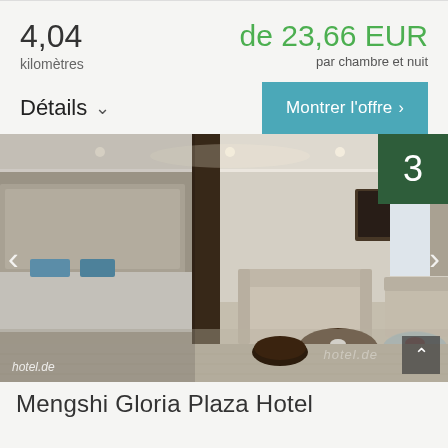4,04
kilomètres
de 23,66 EUR
par chambre et nuit
Détails
Montrer l'offre >
[Figure (photo): Hotel room interior showing a luxury suite with a living area featuring a sofa, armchairs, glass coffee table, a dark round side table, and a bedroom area visible through a partition. Light-colored walls, large windows with curtains, and a TV on the wall. Badge '3' in top right corner. Navigation arrows on left and right sides. Watermark 'hotel.de' bottom left.]
Mengshi Gloria Plaza Hotel